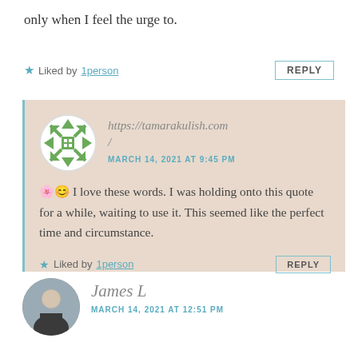only when I feel the urge to.
★ Liked by 1person   REPLY
https://tamarakulish.com /
MARCH 14, 2021 AT 9:45 PM
🌸😊 I love these words. I was holding onto this quote for a while, waiting to use it. This seemed like the perfect time and circumstance.
★ Liked by 1person   REPLY
James L
MARCH 14, 2021 AT 12:51 PM